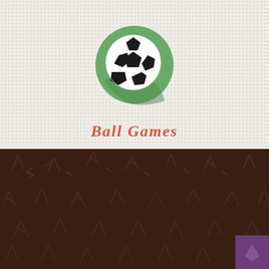[Figure (illustration): A flat-design soccer ball icon on a green circle background]
Ball Games
[Figure (illustration): Dark brown textured background section with decorative stick-figure and line patterns, and a purple square in the bottom-right corner]